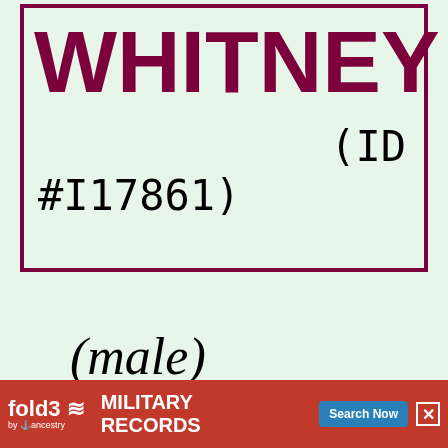WHITNEY
(ID #I17861)
(male)
Family 1:
[Figure (other): fold3 by Ancestry advertisement banner for Military Records with Search Now button]